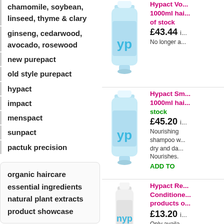chamomile, soybean, linseed, thyme & clary
ginseng, cedarwood, avocado, rosewood
new purepact
old style purepact
hypact
impact
menspact
sunpact
pactuk precision
organic haircare
essential ingredients
natural plant extracts
product showcase
[Figure (screenshot): Share button with social media icons]
[Figure (photo): Blue hair product bottle (1000ml) - Hypact Volume product]
Hypact Volume 1000ml hair of stock £43.44 in No longer a
[Figure (photo): Blue hair product bottle (1000ml) - Hypact Smooth product]
Hypact Smooth 1000ml hair stock £45.20 in Nourishing shampoo with dry and damaged. Nourishes. ADD TO
[Figure (photo): White hair product bottle - Hypact Recharge Conditioner product]
Hypact Recharge Conditioner products out of stock £13.20 in Only available, try Impact S Jojoba. more